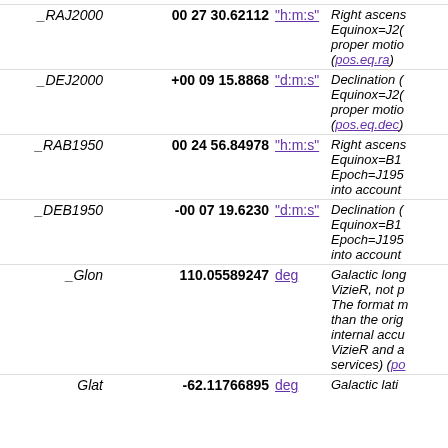| Name | Value | Unit | Description |
| --- | --- | --- | --- |
| _RAJ2000 | 00 27 30.62112 | "h:m:s" | Right ascension Equinox=J2000 proper motion (pos.eq.ra) |
| _DEJ2000 | +00 09 15.8868 | "d:m:s" | Declination Equinox=J2000 proper motion (pos.eq.dec) |
| _RAB1950 | 00 24 56.84978 | "h:m:s" | Right ascension Equinox=B1 Epoch=J195 into account |
| _DEB1950 | -00 07 19.6230 | "d:m:s" | Declination Equinox=B1 Epoch=J195 into account |
| _Glon | 110.05589247 | deg | Galactic long VizieR, not p The format m than the orig internal accu VizieR and a services) (po |
| Glat | -62.11766895 | deg | Galactic lati |